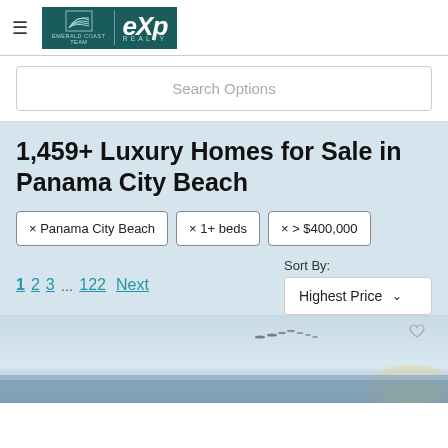[Figure (logo): Emerald Coast Team eXp Realty logo on teal background]
Search Options
1,459+ Luxury Homes for Sale in Panama City Beach
× Panama City Beach
× 1+ beds
× > $400,000
1  2  3  ...  122  Next
Sort By: Highest Price
[Figure (photo): Beach/ocean sunset scene with birds in the sky]